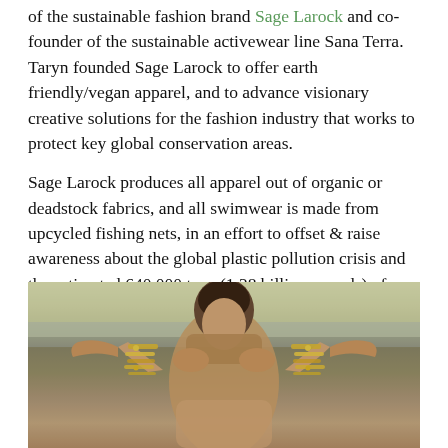of the sustainable fashion brand Sage Larock and co-founder of the sustainable activewear line Sana Terra. Taryn founded Sage Larock to offer earth friendly/vegan apparel, and to advance visionary creative solutions for the fashion industry that works to protect key global conservation areas.
Sage Larock produces all apparel out of organic or deadstock fabrics, and all swimwear is made from upcycled fishing nets, in an effort to offset & raise awareness about the global plastic pollution crisis and the estimated 640,000 tons (1.28 billion pounds) of fishing gear left in the ocean each year.
[Figure (photo): A woman with short dark hair and gold bangles on both wrists, raising her arms with hands near her face, against a beach/ocean background. The image has a warm, slightly desaturated tone.]